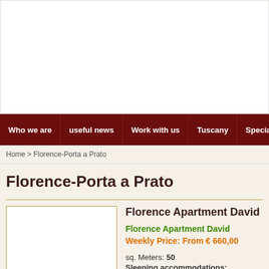[Figure (other): White advertisement/banner area at the top of the page]
Who we are | useful news | Work with us | Tuscany | Specia...
Home > Florence-Porta a Prato
Florence-Porta a Prato
[Figure (photo): Apartment listing thumbnail image placeholder with golden border]
Florence Apartment David
Florence Apartment David
Weekly Price: From € 660,00

sq. Meters: 50
Sleeping accommodations: